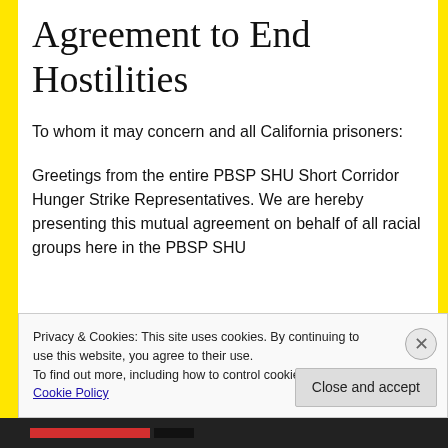Agreement to End Hostilities
To whom it may concern and all California prisoners:
Greetings from the entire PBSP SHU Short Corridor Hunger Strike Representatives. We are hereby presenting this mutual agreement on behalf of all racial groups here in the PBSP SHU
Privacy & Cookies: This site uses cookies. By continuing to use this website, you agree to their use.
To find out more, including how to control cookies, see here: Cookie Policy